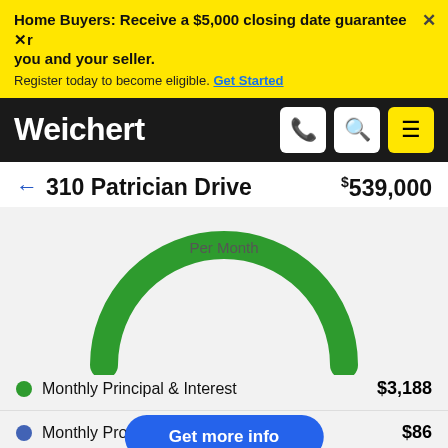Home Buyers: Receive a $5,000 closing date guarantee for you and your seller. Register today to become eligible. Get Started
[Figure (logo): Weichert logo on black navigation bar with phone, search, and menu icons]
← 310 Patrician Drive  $539,000
[Figure (donut-chart): Green semicircle gauge chart showing Per Month mortgage cost breakdown]
Monthly Principal & Interest  $3,188
Monthly Property Tax  $86
Monthly Home Insurance  —
Get more info